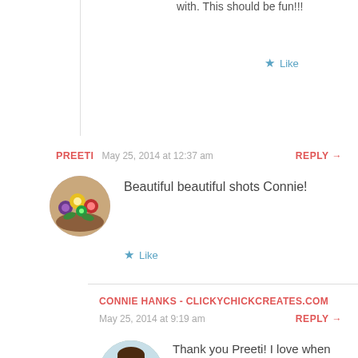with. This should be fun!!!
★ Like
PREETI   May 25, 2014 at 12:37 am   REPLY →
[Figure (photo): Circular avatar photo showing colorful flowers in a bowl]
Beautiful beautiful shots Connie!
★ Like
CONNIE HANKS - CLICKYCHICKCREATES.COM
May 25, 2014 at 9:19 am   REPLY →
[Figure (photo): Circular avatar photo of a woman with dark hair outdoors]
Thank you Preeti! I love when concepts come together 🙂